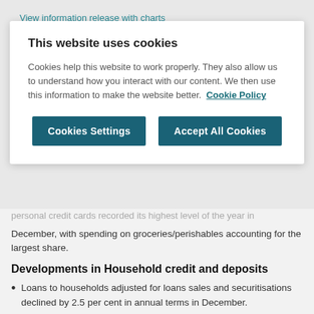View information release with charts
This website uses cookies
Cookies help this website to work properly. They also allow us to understand how you interact with our content. We then use this information to make the website better. Cookie Policy
personal credit cards recorded its highest level of the year in December, with spending on groceries/perishables accounting for the largest share.
Developments in Household credit and deposits
Loans to households adjusted for loans sales and securitisations declined by 2.5 per cent in annual terms in December.
Mortgage loans, which account for 83 per cent of on-balance sheet household loans, increased in net terms by €158 million in